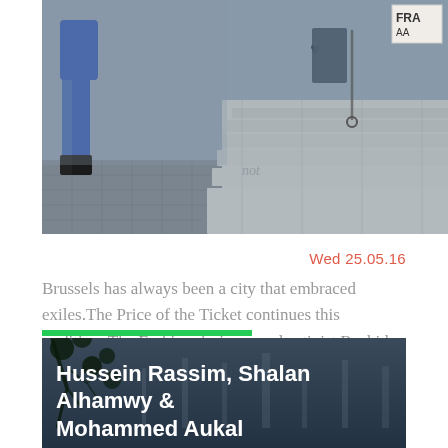[Figure (photo): Street photo showing stone steps and building base, with a person in jeans on the left side and a metal chain. A sign reading 'FRA' is visible in the top right corner.]
Wed 25.05.16
Brussels has always been a city that embraced exiles.The Price of the Ticket continues this tradition. The Fashion designer and activist Rachida Aziz is now inviting a new generation of refugees on stage. Expect an evening of music, dance, poetry and video.
[Figure (photo): Dark photo with city scene, partially obscured by tree branches in the foreground.]
Hussein Rassim, Shalan Alhamwy & Mohammed Aukal